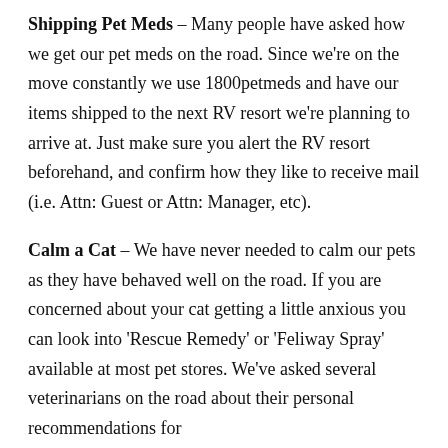Shipping Pet Meds – Many people have asked how we get our pet meds on the road. Since we're on the move constantly we use 1800petmeds and have our items shipped to the next RV resort we're planning to arrive at. Just make sure you alert the RV resort beforehand, and confirm how they like to receive mail (i.e. Attn: Guest or Attn: Manager, etc).
Calm a Cat – We have never needed to calm our pets as they have behaved well on the road. If you are concerned about your cat getting a little anxious you can look into 'Rescue Remedy' or 'Feliway Spray' available at most pet stores. We've asked several veterinarians on the road about their personal recommendations for